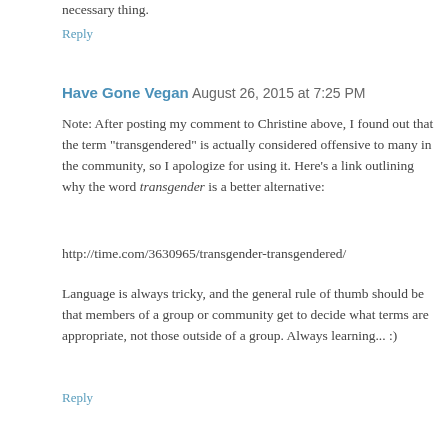necessary thing.
Reply
Have Gone Vegan  August 26, 2015 at 7:25 PM
Note: After posting my comment to Christine above, I found out that the term "transgendered" is actually considered offensive to many in the community, so I apologize for using it. Here's a link outlining why the word transgender is a better alternative:
http://time.com/3630965/transgender-transgendered/
Language is always tricky, and the general rule of thumb should be that members of a group or community get to decide what terms are appropriate, not those outside of a group. Always learning... :)
Reply